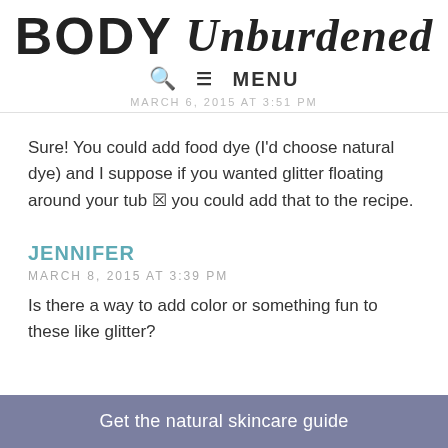BODY Unburdened
Sure! You could add food dye (I'd choose natural dye) and I suppose if you wanted glitter floating around your tub 🔲 you could add that to the recipe.
JENNIFER
MARCH 8, 2015 AT 3:39 PM
Is there a way to add color or something fun to these like glitter?
Get the natural skincare guide